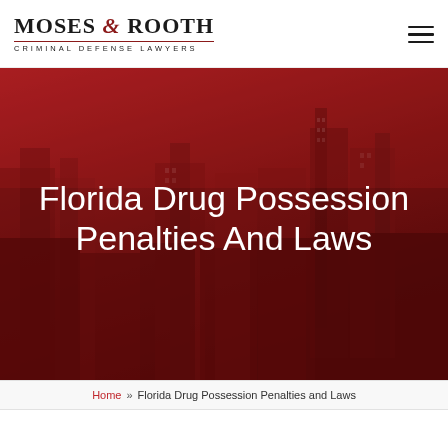[Figure (logo): Moses & Rooth Criminal Defense Lawyers logo with ampersand in dark red]
[Figure (photo): Red-tinted city skyline hero image background with tall buildings]
Florida Drug Possession Penalties And Laws
Home » Florida Drug Possession Penalties and Laws